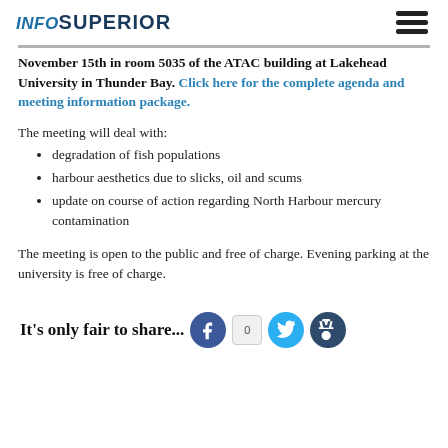INFOSUPERIOR
November 15th in room 5035 of the ATAC building at Lakehead University in Thunder Bay. Click here for the complete agenda and meeting information package.
The meeting will deal with:
degradation of fish populations
harbour aesthetics due to slicks, oil and scums
update on course of action regarding North Harbour mercury contamination
The meeting is open to the public and free of charge. Evening parking at the university is free of charge.
It's only fair to share...